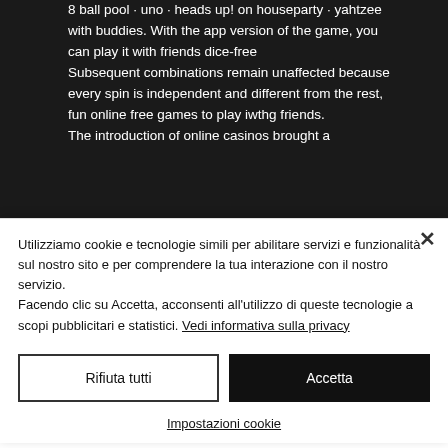8 ball pool · uno · heads up! on houseparty · yahtzee with buddies. With the app version of the game, you can play it with friends dice-free
Subsequent combinations remain unaffected because every spin is independent and different from the rest, fun online free games to play iwthg friends.
The introduction of online casinos brought a
Utilizziamo cookie e tecnologie simili per abilitare servizi e funzionalità sul nostro sito e per comprendere la tua interazione con il nostro servizio.
Facendo clic su Accetta, acconsenti all'utilizzo di queste tecnologie a scopi pubblicitari e statistici. Vedi informativa sulla privacy
Rifiuta tutti
Accetta
Impostazioni cookie